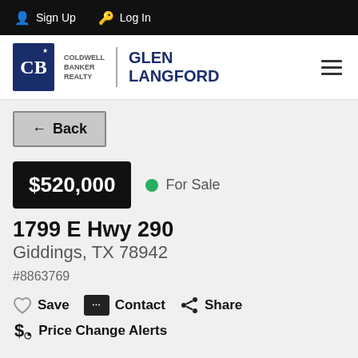Sign Up  Log In
[Figure (logo): Coldwell Banker Realty - Glen Langford logo with CB monogram in navy blue square]
Back
$520,000  For Sale
1799 E Hwy 290
Giddings, TX 78942
#8863769
Save  Contact  Share
Price Change Alerts